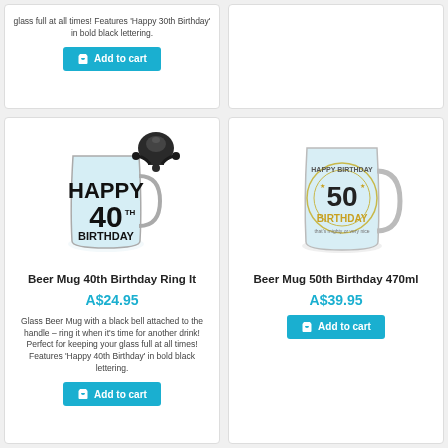glass full at all times! Features 'Happy 30th Birthday' in bold black lettering.
Add to cart
[Figure (photo): Glass beer mug with 'HAPPY 40th BIRTHDAY' text and a black bicycle bell attached to the handle]
Beer Mug 40th Birthday Ring It
A$24.95
Glass Beer Mug with a black bell attached to the handle – ring it when it's time for another drink! Perfect for keeping your glass full at all times! Features 'Happy 40th Birthday' in bold black lettering.
Add to cart
[Figure (photo): Clear glass beer mug with '50 BIRTHDAY' text design in gold and black]
Beer Mug 50th Birthday 470ml
A$39.95
Add to cart